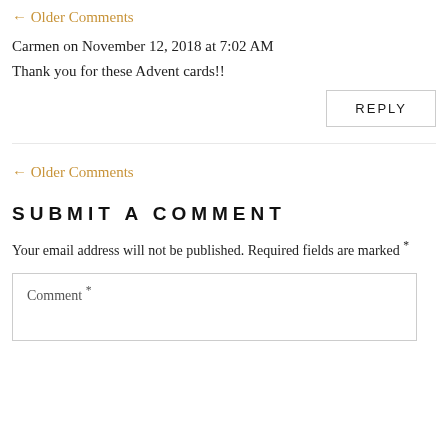← Older Comments
Carmen on November 12, 2018 at 7:02 AM
Thank you for these Advent cards!!
REPLY
← Older Comments
SUBMIT A COMMENT
Your email address will not be published. Required fields are marked *
Comment *